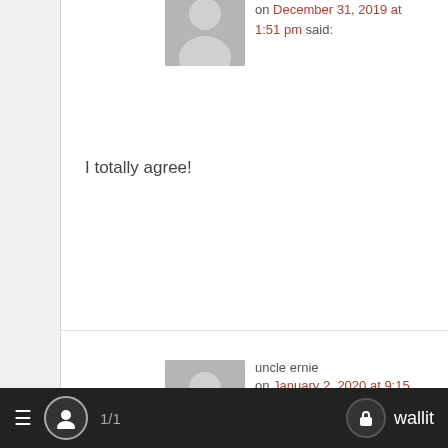on December 31, 2019 at 1:51 pm said:
I totally agree!
uncle ernie
on January 2, 2020 at 9:15 pm said:
More than the rug was yanked out. I built my portfolio upon the great news and info from those
≡  1/1  wallit